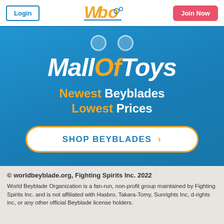Login | WBO Logo | Join Now
[Figure (illustration): MallOfToys advertisement banner with blue gradient background. Shows 'MallOfToys' logo in white and orange italic text, two decorative dots at top, tagline 'Newest Beyblades Lowest Prices' in white and orange, and a white pill-shaped button reading 'SHOP BEYBLADES >']
© worldbeyblade.org, Fighting Spirits Inc. 2022 World Beyblade Organization is a fan-run, non-profit group maintained by Fighting Spirits Inc. and is not affiliated with Hasbro, Takara-Tomy, Sunrights Inc, d-rights inc, or any other official Beyblade license holders.